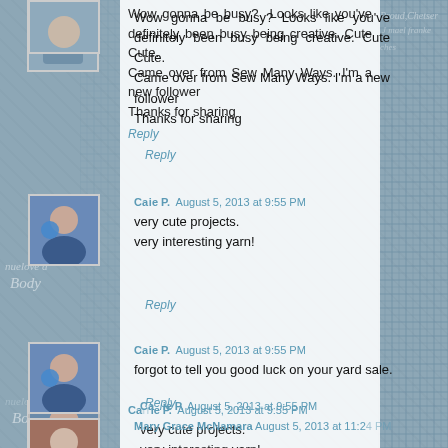Wow gonna be busy? Looks like you've definitely been busy being creative. Cute Cute.
Came over from Sew Many Ways. I'm a new follower
Thanks for sharing
Carrie P. August 5, 2013 at 9:55 PM
very cute projects.
very interesting yarn!
Carrie P. August 5, 2013 at 9:55 PM
forgot to tell you good luck on your yard sale.
Mary Grace McNamara August 5, 2013 at 11:2[4 PM]